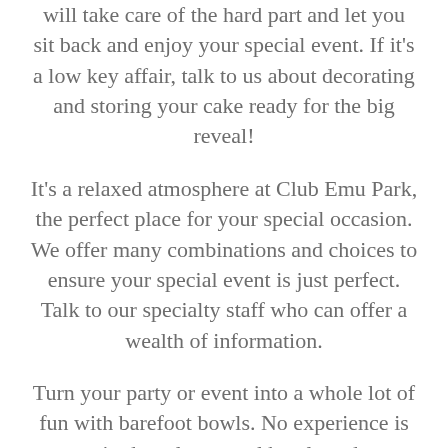will take care of the hard part and let you sit back and enjoy your special event. If it's a low key affair, talk to us about decorating and storing your cake ready for the big reveal!
It's a relaxed atmosphere at Club Emu Park, the perfect place for your special occasion. We offer many combinations and choices to ensure your special event is just perfect. Talk to our specialty staff who can offer a wealth of information.
Turn your party or event into a whole lot of fun with barefoot bowls. No experience is required to play casual bowls and an instructor will be available for your guests to make it that little bit competitive. It's a great